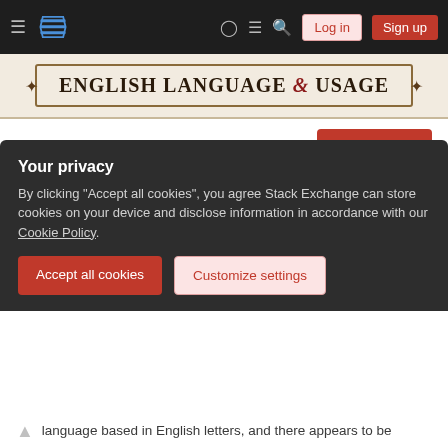English Language & Usage — Stack Exchange navigation bar with Log in and Sign up buttons
[Figure (screenshot): English Language & Usage site header banner with decorative border]
[Figure (screenshot): Ask Question red button]
How should I spell Zelensky?
Asked 4 months ago   Modified 4 months ago   Viewed 7k times
Recently, Volodymyr Zelensky (for this question, I will
Your privacy
By clicking "Accept all cookies", you agree Stack Exchange can store cookies on your device and disclose information in accordance with our Cookie Policy.
Accept all cookies   Customize settings
language based in English letters, and there appears to be